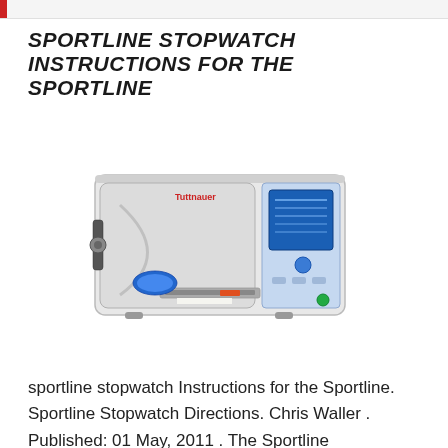SPORTLINE STOPWATCH INSTRUCTIONS FOR THE SPORTLINE
[Figure (photo): Photo of a Tuttnauer autoclave/sterilizer machine — a white boxy medical device with a blue digital control panel on the right side, a handle and locking mechanism on the left door, a paper printer slot in the middle-lower area, and a green power indicator light at the bottom right.]
sportline stopwatch Instructions for the Sportline. Sportline Stopwatch Directions. Chris Waller . Published: 01 May, 2011 . The Sportline